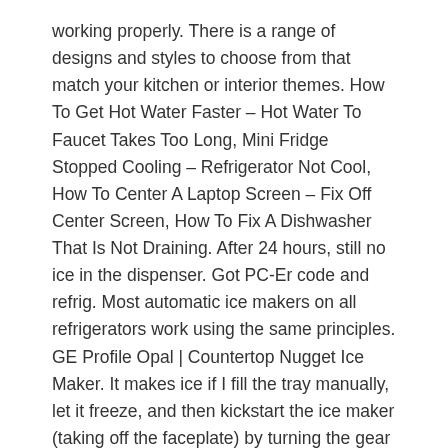working properly. There is a range of designs and styles to choose from that match your kitchen or interior themes. How To Get Hot Water Faster – Hot Water To Faucet Takes Too Long, Mini Fridge Stopped Cooling – Refrigerator Not Cool, How To Center A Laptop Screen – Fix Off Center Screen, How To Fix A Dishwasher That Is Not Draining. After 24 hours, still no ice in the dispenser. Got PC-Er code and refrig. Most automatic ice makers on all refrigerators work using the same principles. GE Profile Opal | Countertop Nugget Ice Maker. It makes ice if I fill the tray manually, let it freeze, and then kickstart the ice maker (taking off the faceplate) by turning the gear slightly with a wrench. -RR. Dishwasher Cycle Takes Too Long To Finish Cleaning. I unplugged the fridge for ten minutes. Is the water filter clogged? -RR. There is a small motor/timer that drops the ice. An